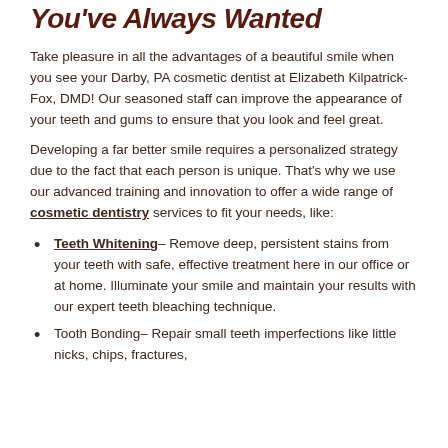You've Always Wanted
Take pleasure in all the advantages of a beautiful smile when you see your Darby, PA cosmetic dentist at Elizabeth Kilpatrick-Fox, DMD! Our seasoned staff can improve the appearance of your teeth and gums to ensure that you look and feel great.
Developing a far better smile requires a personalized strategy due to the fact that each person is unique. That's why we use our advanced training and innovation to offer a wide range of cosmetic dentistry services to fit your needs, like:
Teeth Whitening– Remove deep, persistent stains from your teeth with safe, effective treatment here in our office or at home. Illuminate your smile and maintain your results with our expert teeth bleaching technique.
Tooth Bonding– Repair small teeth imperfections like little nicks, chips, fractures,